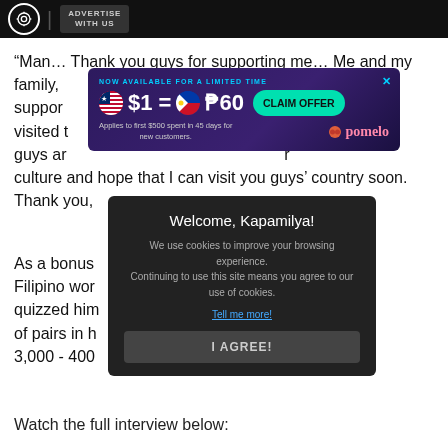ADVERTISE WITH US
“Man… Thank you guys for supporting me… Me and my family, [obscured] NBI for [obscured] Keep supporting [obscured] en I visited t[obscured] all. You guys ar[obscured] r culture and hope that I can visit you guys’ country soon. Thank you, [obscured]
[Figure (infographic): Advertisement overlay: NOW AVAILABLE FOR A LIMITED TIME. $1 = P60. CLAIM OFFER button. Applies to first $500 spent in 45 days for new customers. Pomelo logo.]
[Figure (screenshot): Cookie consent modal: Welcome, Kapamilya! We use cookies to improve your browsing experience. Continuing to use this site means you agree to our use of cookies. Tell me more! I AGREE! button.]
As a bonus [obscured] anni a few Filipino wor[obscured] nge, and quizzed him[obscured] he number of pairs in h[obscured] whopping 3,000 - 400[obscured]
Watch the full interview below: